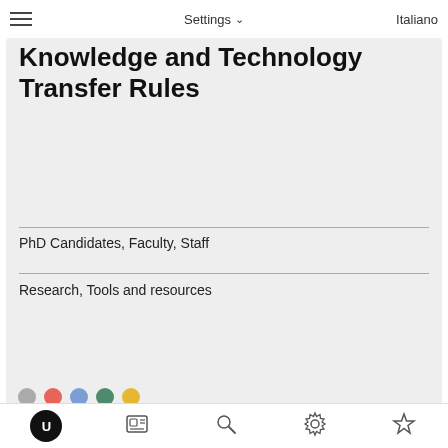Settings  Italiano
Knowledge and Technology Transfer Rules
PhD Candidates, Faculty, Staff
Research, Tools and resources
Research project start